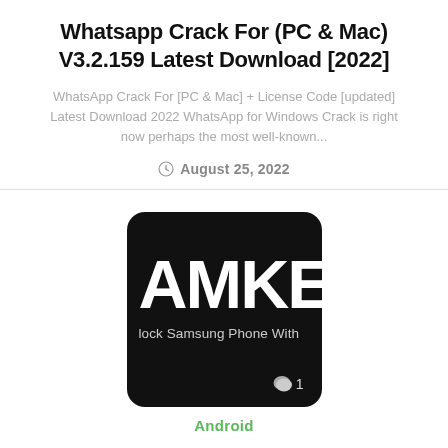Whatsapp Crack For (PC & Mac) V3.2.159 Latest Download [2022]
WhatsApp Crack For [PC & Mac] + License Code [updated] Latest Download 2022 WhatsApp for Windows Crack is right now perhaps the most well-known...
August 25, 2022
[Figure (photo): Black rounded rectangle card showing large white bold text 'AMKE' partially visible, smaller text 'lock Samsung Phone With' below, and a comment bubble icon with '1' at bottom right.]
Android